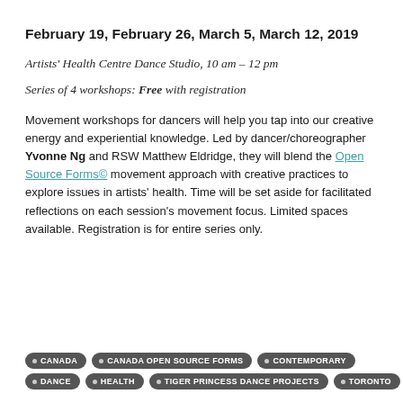February 19, February 26, March 5, March 12, 2019
Artists' Health Centre Dance Studio, 10 am – 12 pm
Series of 4 workshops: Free with registration
Movement workshops for dancers will help you tap into our creative energy and experiential knowledge. Led by dancer/choreographer Yvonne Ng and RSW Matthew Eldridge, they will blend the Open Source Forms© movement approach with creative practices to explore issues in artists' health. Time will be set aside for facilitated reflections on each session's movement focus. Limited spaces available. Registration is for entire series only.
CANADA
CANADA OPEN SOURCE FORMS
CONTEMPORARY
DANCE
HEALTH
TIGER PRINCESS DANCE PROJECTS
TORONTO